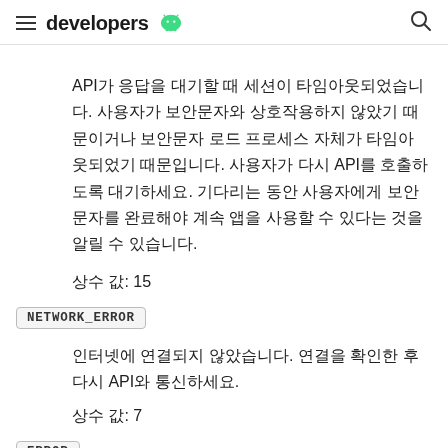developers (android logo)
API가 응답을 대기할 때 세션이 타임아웃되었습니다. 사용자가 보안문자와 상호작용하지 않았기 때문이거나 보안문자 로드 프로세스 자체가 타임아웃되었기 때문입니다. 사용자가 다시 API를 호출하도록 대기하세요. 기다리는 동안 사용자에게 보안문자를 완료해야 계속 앱을 사용할 수 있다는 것을 알릴 수 있습니다.
상수 값: 15
NETWORK_ERROR
인터넷에 연결되지 않았습니다. 연결을 확인한 후 다시 API와 통신하세요.
상수 값: 7
ERROR
작업에서 일반적인 실패가 발생했습니다.